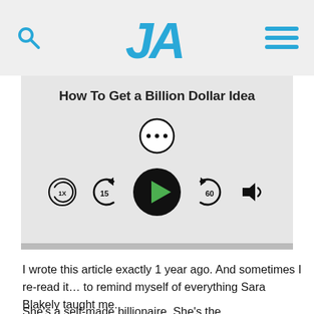UA
How To Get a Billion Dollar Idea
[Figure (screenshot): Podcast audio player with play button, skip back 15 seconds, skip forward 60 seconds, speed (1x), and volume controls. Three-dot menu button above.]
I wrote this article exactly 1 year ago. And sometimes I re-read it… to remind myself of everything Sara Blakely taught me.
She's a self-made billionaire. She's the